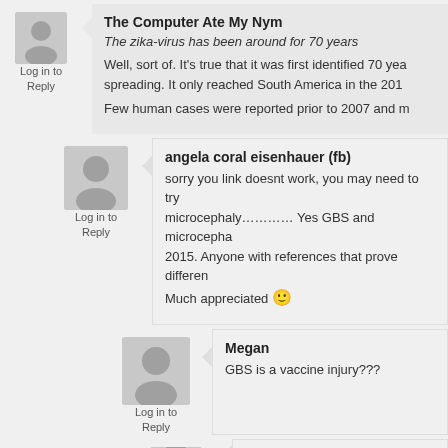The Computer Ate My Nym
The zika-virus has been around for 70 years
Well, sort of. It's true that it was first identified 70 yea... spreading. It only reached South America in the 201...
Few human cases were reported prior to 2007 and m...
angela coral eisenhauer (fb)
sorry you link doesnt work, you may need to try microcephaly………… Yes GBS and microcepha... 2015. Anyone with references that prove differen... Much appreciated 🙂
Megan
GBS is a vaccine injury???